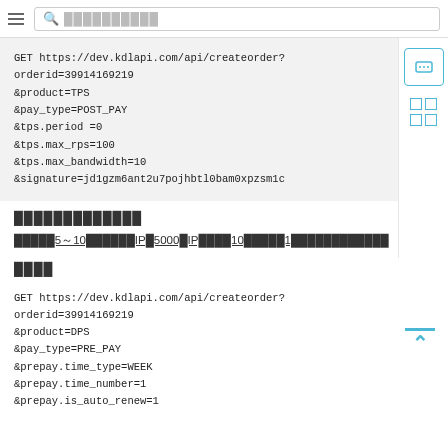≡  🔍 ████████████
GET https://dev.kdlapi.com/api/createorder?orderid=39914169219
&product=TPS
&pay_type=POST_PAY
&tps.period =0
&tps.max_rps=100
&tps.max_bandwidth=10
&signature=jd1gzm6ant2u7pojhbtl0bam0xpzsm1c
█████████████
█████5～10██████IP█5000█IP████10█████1████████████
████
GET https://dev.kdlapi.com/api/createorder?orderid=39914169219
&product=DPS
&pay_type=PRE_PAY
&prepay.time_type=WEEK
&prepay.time_number=1
&prepay.is_auto_renew=1